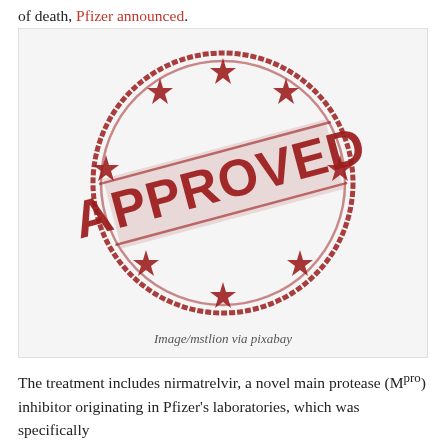of death, Pfizer announced.
[Figure (illustration): A red rubber stamp graphic with the word APPROVED in bold letters across the center, surrounded by a circle border and decorative stars, on a light grey background.]
Image/mstlion via pixabay
The treatment includes nirmatrelvir, a novel main protease (Mpro) inhibitor originating in Pfizer's laboratories, which was specifically